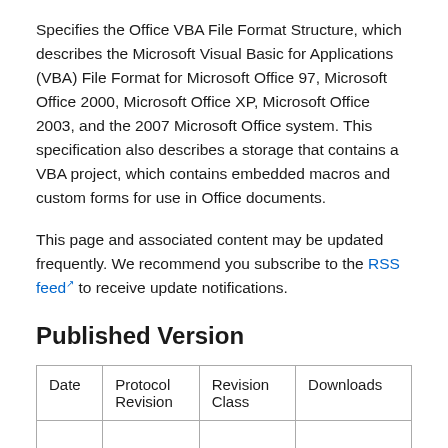Specifies the Office VBA File Format Structure, which describes the Microsoft Visual Basic for Applications (VBA) File Format for Microsoft Office 97, Microsoft Office 2000, Microsoft Office XP, Microsoft Office 2003, and the 2007 Microsoft Office system. This specification also describes a storage that contains a VBA project, which contains embedded macros and custom forms for use in Office documents.
This page and associated content may be updated frequently. We recommend you subscribe to the RSS feed to receive update notifications.
Published Version
| Date | Protocol Revision | Revision Class | Downloads |
| --- | --- | --- | --- |
|  |  |  |  |